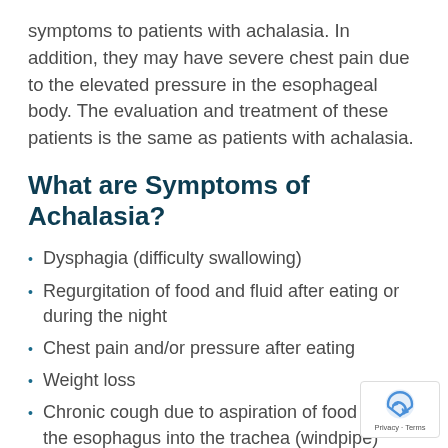symptoms to patients with achalasia. In addition, they may have severe chest pain due to the elevated pressure in the esophageal body. The evaluation and treatment of these patients is the same as patients with achalasia.
What are Symptoms of Achalasia?
Dysphagia (difficulty swallowing)
Regurgitation of food and fluid after eating or during the night
Chest pain and/or pressure after eating
Weight loss
Chronic cough due to aspiration of food from the esophagus into the trachea (windpipe)